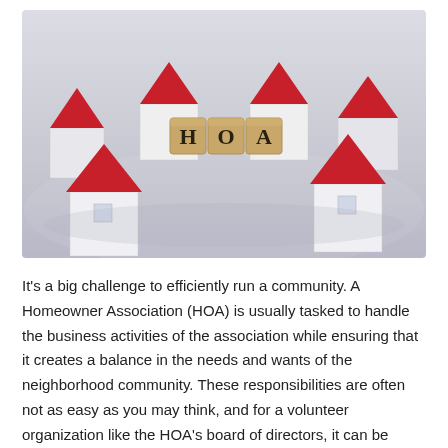[Figure (photo): A photograph showing small white model houses with red roofs arranged around three wooden letter blocks spelling 'HOA' on a light gray surface.]
It's a big challenge to efficiently run a community. A Homeowner Association (HOA) is usually tasked to handle the business activities of the association while ensuring that it creates a balance in the needs and wants of the neighborhood community. These responsibilities are often not as easy as you may think, and for a volunteer organization like the HOA's board of directors, it can be overwhelming. Professional support is therefore worth seeking. If you are the HOA board managing affairs